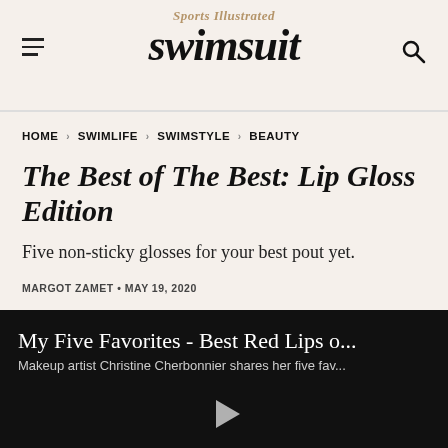Sports Illustrated Swimsuit
HOME › SWIMLIFE › SWIMSTYLE › BEAUTY
The Best of The Best: Lip Gloss Edition
Five non-sticky glosses for your best pout yet.
MARGOT ZAMET • MAY 19, 2020
[Figure (screenshot): Video thumbnail with dark background showing title 'My Five Favorites - Best Red Lips o...' and subtitle 'Makeup artist Christine Cherbonnier shares her five fav...' with a play button triangle at the bottom center.]